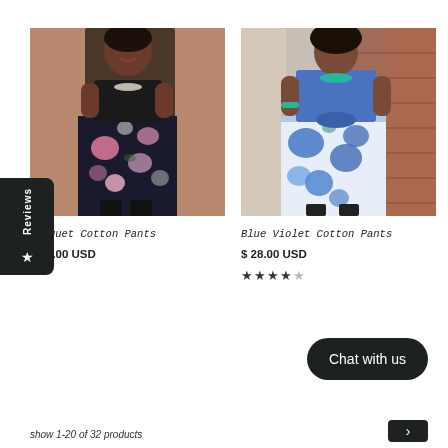[Figure (photo): Woman wearing black crop top and floral cotton pants (dark background with pink flowers), standing outdoors near a brick wall]
Bouquet Cotton Pants
$ 28.00 USD
[Figure (photo): Woman wearing blue denim tied shirt and blue floral cotton pants, standing outdoors near a brick wall]
Blue Violet Cotton Pants
$ 28.00 USD
★★★★☆ (star rating)
Chat with us
show 1-20 of 32 products